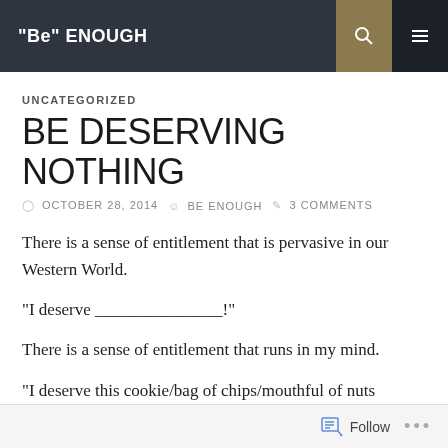"Be" ENOUGH
UNCATEGORIZED
BE DESERVING NOTHING
OCTOBER 28, 2014   BE ENOUGH   3 COMMENTS
There is a sense of entitlement that is pervasive in our Western World.
“I deserve _______________!”
There is a sense of entitlement that runs in my mind.
“I deserve this cookie/bag of chips/mouthful of nuts because I
Follow •••